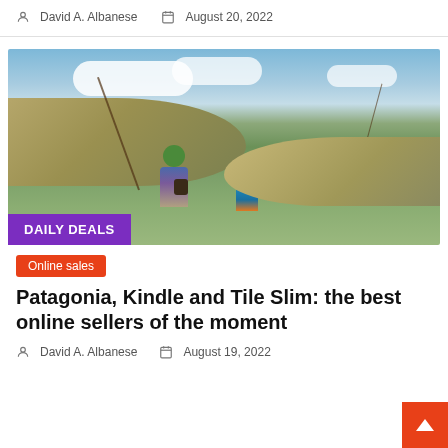David A. Albanese   August 20, 2022
[Figure (photo): Two people, an adult and a child, walking through a grassy field carrying fishing rods, with hills and blue sky in background. A purple 'DAILY DEALS' badge overlays the bottom-left of the image.]
Online sales
Patagonia, Kindle and Tile Slim: the best online sellers of the moment
David A. Albanese   August 19, 2022